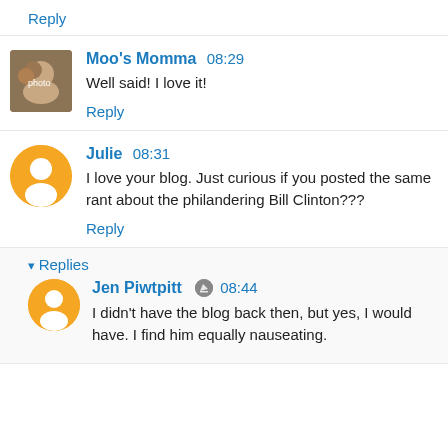Reply
Moo's Momma 08:29
Well said! I love it!
Reply
Julie 08:31
I love your blog. Just curious if you posted the same rant about the philandering Bill Clinton???
Reply
Replies
Jen Piwtpitt 08:44
I didn't have the blog back then, but yes, I would have. I find him equally nauseating.